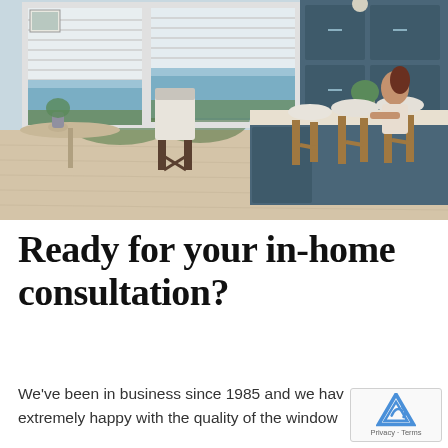[Figure (photo): Interior room photo showing a bright coastal-style kitchen/dining area with horizontal blinds on large windows overlooking ocean and trees, rattan bar stools at a blue kitchen island, a white dining chair, and a woman leaning on the counter. Light wood floors throughout.]
Ready for your in-home consultation?
We've been in business since 1985 and we have extremely happy with the quality of the window